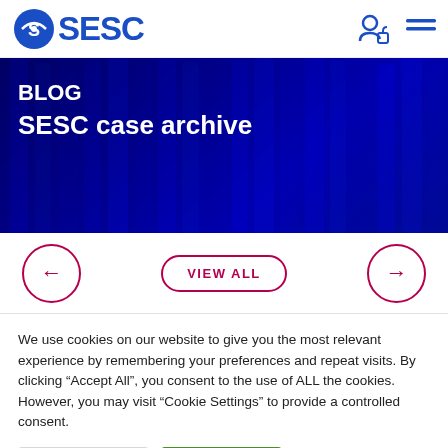SESC
[Figure (screenshot): SESC website hero banner showing blue-tinted image of hanging garments with overlaid text 'BLOG' and 'SESC case archive']
BLOG
SESC case archive
[Figure (infographic): Navigation row with left arrow button, VIEW ALL button, and right arrow button — all outlined in dark pink/crimson]
We use cookies on our website to give you the most relevant experience by remembering your preferences and repeat visits. By clicking "Accept All", you consent to the use of ALL the cookies. However, you may visit "Cookie Settings" to provide a controlled consent.
Cookie Settings
Accept All